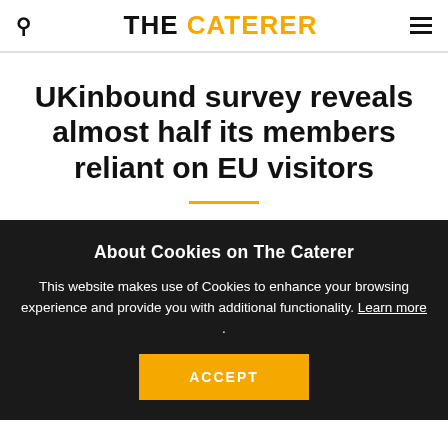THE CATERER
UKinbound survey reveals almost half its members reliant on EU visitors
About Cookies on The Caterer
This website makes use of Cookies to enhance your browsing experience and provide you with additional functionality. Learn more .
ACCEPT